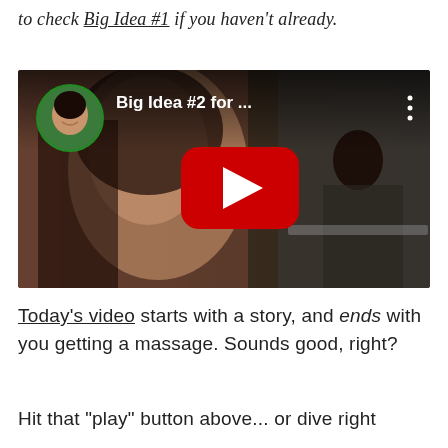to check Big Idea #1 if you haven't already.
[Figure (screenshot): YouTube video thumbnail showing a woman speaking on the left side and a person in a bathtub on the right side. The video title reads 'Big Idea #2 for ...' with a circular profile photo of a woman in the top-left corner and a large red YouTube play button in the center.]
Today's video starts with a story, and ends with you getting a massage. Sounds good, right?
Hit that "play" button above... or dive right